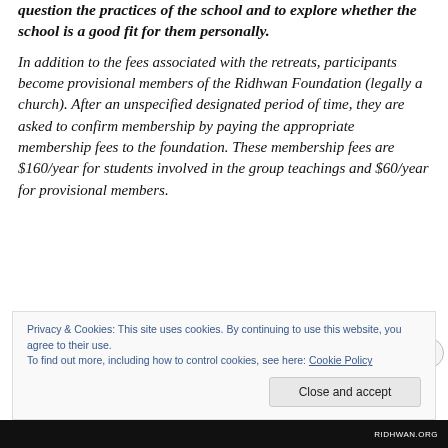question the practices of the school and to explore whether the school is a good fit for them personally.
In addition to the fees associated with the retreats, participants become provisional members of the Ridhwan Foundation (legally a church). After an unspecified designated period of time, they are asked to confirm membership by paying the appropriate membership fees to the foundation. These membership fees are $160/year for students involved in the group teachings and $60/year for provisional members.
Privacy & Cookies: This site uses cookies. By continuing to use this website, you agree to their use.
To find out more, including how to control cookies, see here: Cookie Policy
Close and accept